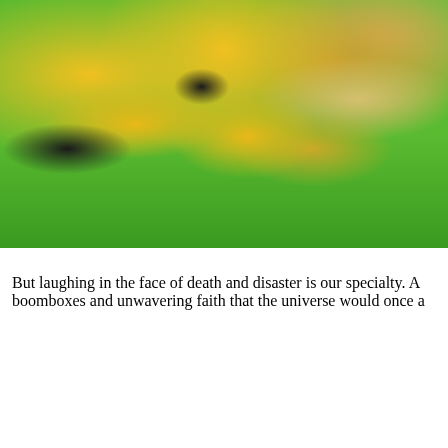[Figure (photo): Group of people in yellow costumes on green grass, holding boomboxes and various props, with colorful fanny packs and accessories]
But laughing in the face of death and disaster is our specialty. A boomboxes and unwavering faith that the universe would once a
[Figure (screenshot): Video thumbnail showing a person wearing an orange cap and goggles with overcast sky background, with a circular avatar and title 'Party Safari USA 2012' overlaid in the top-left corner]